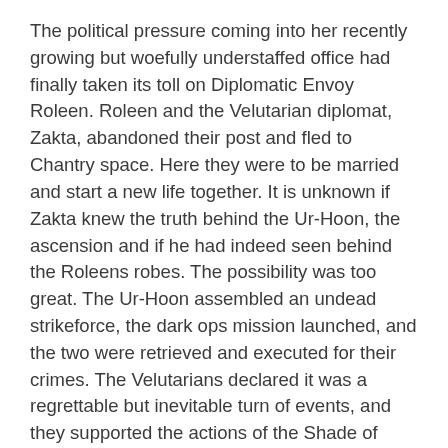The political pressure coming into her recently growing but woefully understaffed office had finally taken its toll on Diplomatic Envoy Roleen. Roleen and the Velutarian diplomat, Zakta, abandoned their post and fled to Chantry space. Here they were to be married and start a new life together. It is unknown if Zakta knew the truth behind the Ur-Hoon, the ascension and if he had indeed seen behind the Roleens robes. The possibility was too great. The Ur-Hoon assembled an undead strikeforce, the dark ops mission launched, and the two were retrieved and executed for their crimes. The Velutarians declared it was a regrettable but inevitable turn of events, and they supported the actions of the Shade of Hoon completely.